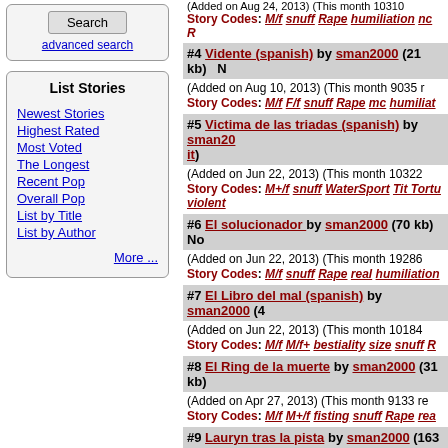Search
advanced search
List Stories
Newest Stories
Highest Rated
Most Voted
The Longest
Recent Pop
Overall Pop
List by Title
List by Author
More ...
#4 Vidente (spanish) by sman2000 (21 kb) N
(Added on Aug 10, 2013) (This month 9035 r
Story Codes: M/f F/f snuff Rape mc humiliat
#5 Victima de las triadas (spanish) by sman20 it)
(Added on Jun 22, 2013) (This month 10322
Story Codes: M+/f snuff WaterSport Tit Tortu violent
#6 El solucionador by sman2000 (70 kb) No
(Added on Jun 22, 2013) (This month 19286
Story Codes: M/f snuff Rape real humiliation
#7 El Libro del mal (spanish) by sman2000 (4
(Added on Jun 22, 2013) (This month 10184
Story Codes: M/f M/f+ bestiality size snuff R
#8 El Ring de la muerte by sman2000 (31 kb)
(Added on Apr 27, 2013) (This month 9133 re
Story Codes: M/f M+/f fisting snuff Rape rea
#9 Lauryn tras la pista by sman2000 (163 kb)
(Added on Dec 8, 2012) (This month 39491 r
Story Codes: M/f M+/f incest snuff Rape rea